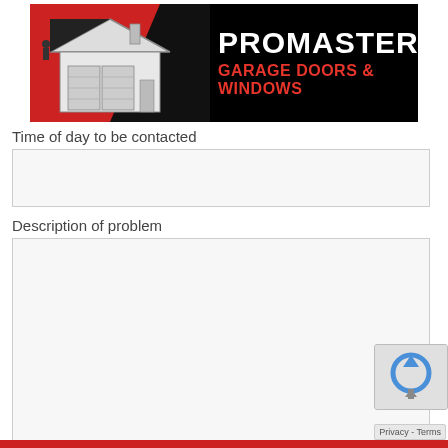[Figure (logo): Promaster Garage Doors & Windows logo — black banner with house illustration on the left and white PROMASTER text with red GARAGE DOORS & WINDOWS text on the right]
Time of day to be contacted
Description of problem
Privacy - Terms